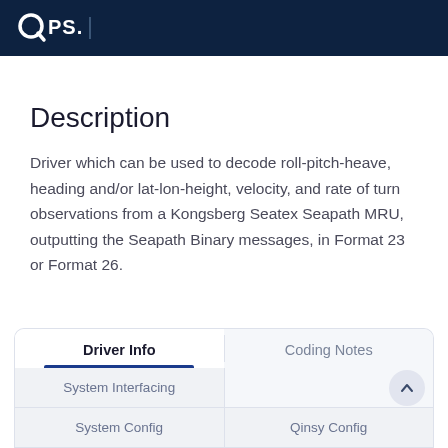QPS.
Description
Driver which can be used to decode roll-pitch-heave, heading and/or lat-lon-height, velocity, and rate of turn observations from a Kongsberg Seatex Seapath MRU, outputting the Seapath Binary messages, in Format 23 or Format 26.
| Driver Info | Coding Notes |
| --- | --- |
| System Interfacing |  |
| System Config | Qinsy Config |